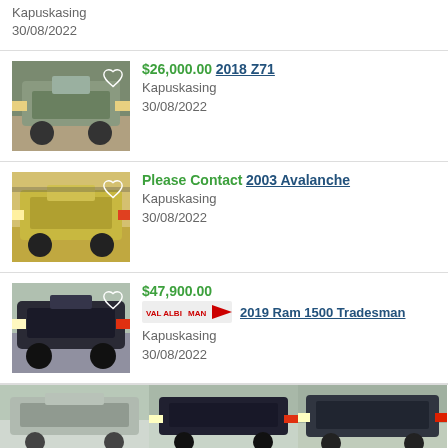Kapuskasing
30/08/2022
[Figure (photo): Silver pickup truck front view]
$26,000.00 2018 Z71
Kapuskasing
30/08/2022
[Figure (photo): Yellow SUV/truck front view]
Please Contact 2003 Avalanche
Kapuskasing
30/08/2022
[Figure (photo): Black Ram pickup truck front view]
$47,900.00 2019 Ram 1500 Tradesman
Kapuskasing
30/08/2022
[Figure (photo): Three small thumbnail images of pickup trucks at bottom]